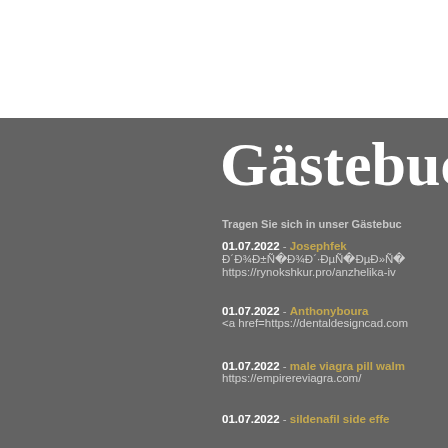Gästebuc
Tragen Sie sich in unser Gästebuc
01.07.2022 - Josephfek
Đ´Đ¾Đ±Ñ�Đ¾Đ´Đ·ĐµÑ�ĐµĐ»Ñ
https://rynokshkur.pro/anzhelika-iv
01.07.2022 - Anthonyboura
<a href=https://dentaldesigncad.com
01.07.2022 - male viagra pill walm
https://empirereviagra.com/
01.07.2022 - sildenafil side effe